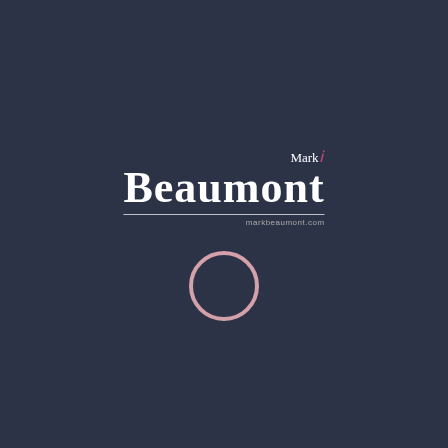[Figure (logo): Mark Beaumont logo: 'Mark' in white serif text with a pink/magenta ampersand-style character, followed by 'Beaumont' in large bold white serif text, with a thin horizontal rule and 'markbeaumont.com' below.]
[Figure (illustration): A thin-stroked circle (ring) in a muted pink/rose color, centered horizontally in the lower portion of the dark navy background.]